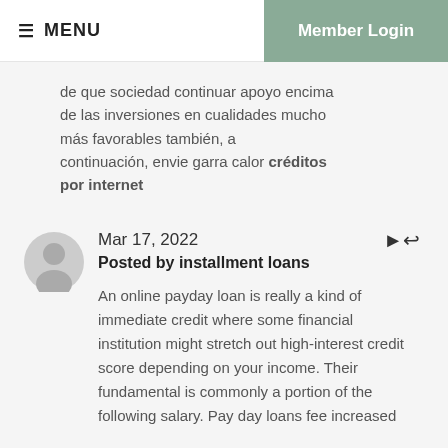≡ MENU   Member Login
de que sociedad continuar apoyo encima de las inversiones en cualidades mucho más favorables también, a continuación, envie garra calor créditos por internet
Mar 17, 2022
Posted by installment loans
An online payday loan is really a kind of immediate credit where some financial institution might stretch out high-interest credit score depending on your income. Their fundamental is commonly a portion of the following salary. Pay day loans fee increased